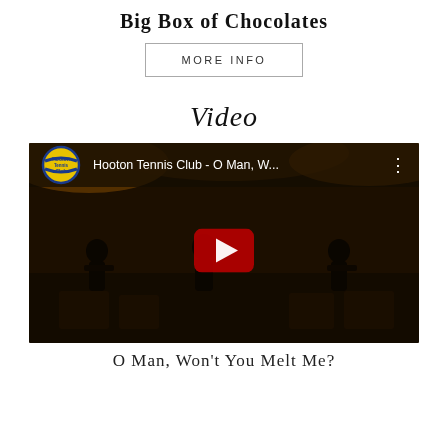Big Box of Chocolates
MORE INFO
Video
[Figure (screenshot): Embedded YouTube video thumbnail showing Hooton Tennis Club - O Man, W... with play button overlay and channel logo]
O Man, Won't You Melt Me?